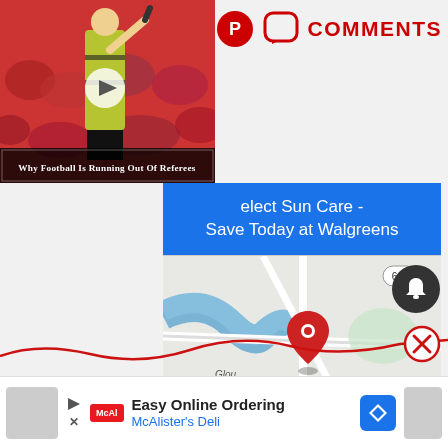[Figure (screenshot): Video thumbnail showing a football referee raising hand, with title 'Why Football Is Running Out Of Referees' and a play button overlay]
[Figure (screenshot): Pinterest icon and speech bubble comments icon with COMMENTS label in red]
[Figure (screenshot): Blue banner advertisement for Walgreens Sun Care: 'Select Sun Care - Save Today at Walgreens']
[Figure (map): Google Maps snippet showing a location pin (red marker) near road 641, with area labels including 'Glou' (Gloucester)]
[Figure (screenshot): Two buttons: 'Store info' (white with info icon) and 'Directions' (blue with navigation icon)]
[Figure (screenshot): Dark circular notification bell button]
[Figure (screenshot): Red wavy decorative line across bottom portion of page with red X close button]
[Figure (screenshot): Bottom ad banner: Easy Online Ordering - McAlister's Deli, with McAl logo and blue directions icon]